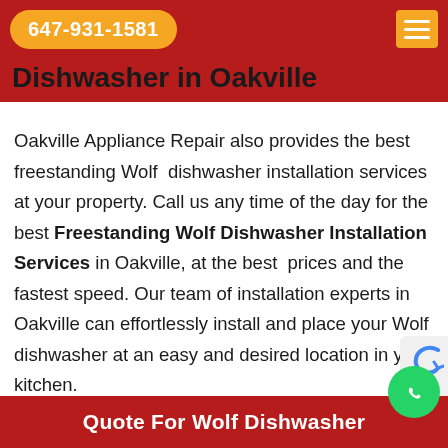647-931-1581
Dishwasher in Oakville
Oakville Appliance Repair also provides the best freestanding Wolf dishwasher installation services at your property. Call us any time of the day for the best Freestanding Wolf Dishwasher Installation Services in Oakville, at the best prices and the fastest speed. Our team of installation experts in Oakville can effortlessly install and place your Wolf dishwasher at an easy and desired location in your kitchen.
Quote For Wolf Dishwasher